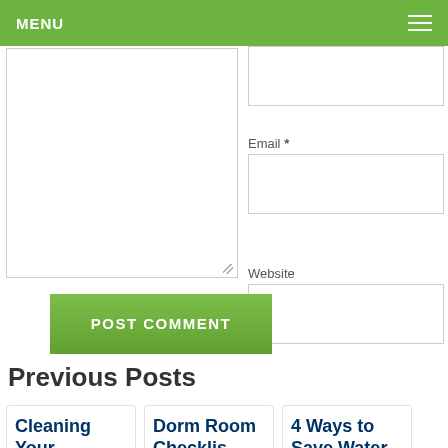MENU
[Comment textarea]
Email *
[Email input field]
Website
[Website input field]
POST COMMENT
Previous Posts
Cleaning Your Appliance Inside
Dorm Room Checklist How to
4 Ways to Save Water With